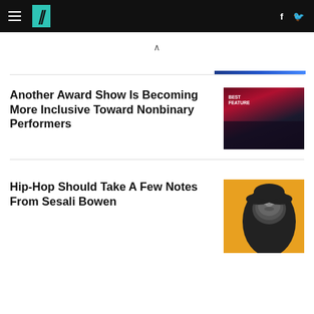HuffPost
Another Award Show Is Becoming More Inclusive Toward Nonbinary Performers
[Figure (photo): Award show stage photo with 'BEST FEATURE' text visible, audience in foreground]
Hip-Hop Should Take A Few Notes From Sesali Bowen
[Figure (photo): Black and white portrait of Sesali Bowen against orange background]